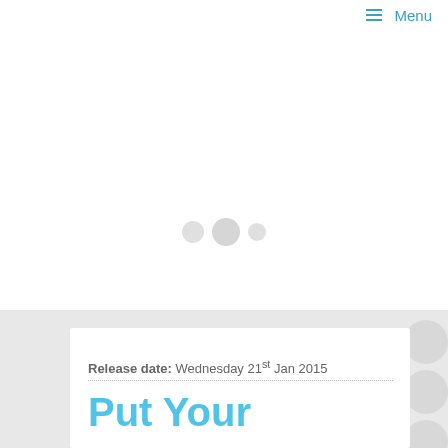Menu
[Figure (other): Loading spinner area with three grey circles of varying sizes centered on a white background]
Release date: Wednesday 21st Jan 2015
Put Your